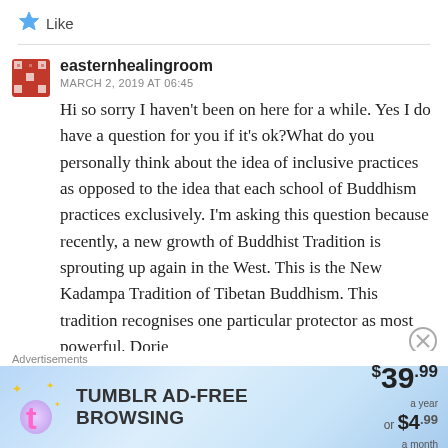★ Like
easternhealingroom
MARCH 2, 2019 AT 06:45
Hi so sorry I haven't been on here for a while. Yes I do have a question for you if it's ok?What do you personally think about the idea of inclusive practices as opposed to the idea that each school of Buddhism practices exclusively. I'm asking this question because recently, a new growth of Buddhist Tradition is sprouting up again in the West. This is the New Kadampa Tradition of Tibetan Buddhism. This tradition recognises one particular protector as most powerful. Dorie
Advertisements
[Figure (screenshot): Tumblr ad banner: TUMBLR AD-FREE BROWSING $39.99 a year or $4.99 a month]